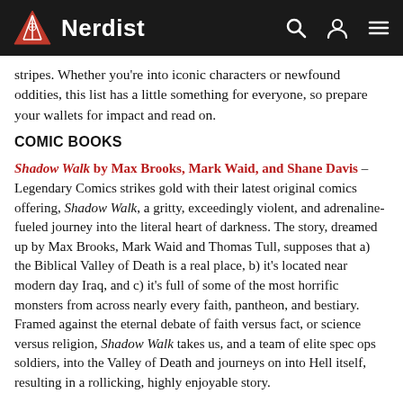Nerdist
stripes. Whether you're into iconic characters or newfound oddities, this list has a little something for everyone, so prepare your wallets for impact and read on.
COMIC BOOKS
Shadow Walk by Max Brooks, Mark Waid, and Shane Davis – Legendary Comics strikes gold with their latest original comics offering, Shadow Walk, a gritty, exceedingly violent, and adrenaline-fueled journey into the literal heart of darkness. The story, dreamed up by Max Brooks, Mark Waid and Thomas Tull, supposes that a) the Biblical Valley of Death is a real place, b) it's located near modern day Iraq, and c) it's full of some of the most horrific monsters from across nearly every faith, pantheon, and bestiary. Framed against the eternal debate of faith versus fact, or science versus religion, Shadow Walk takes us, and a team of elite spec ops soldiers, into the Valley of Death and journeys on into Hell itself, resulting in a rollicking, highly enjoyable story.
Hawkeye, Vol 2: Little Hits by Matt Fraction and David Aja –